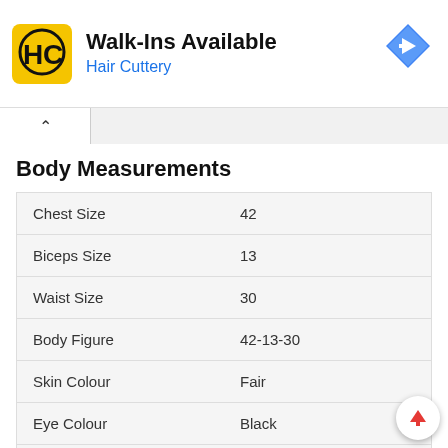[Figure (screenshot): Hair Cuttery advertisement banner with logo (HC in yellow square), 'Walk-Ins Available' title, 'Hair Cuttery' subtitle in blue, and a blue diamond navigation arrow icon on the right.]
Body Measurements
| Chest Size | 42 |
| Biceps Size | 13 |
| Waist Size | 30 |
| Body Figure | 42-13-30 |
| Skin Colour | Fair |
| Eye Colour | Black |
| Hair Colour | Black |